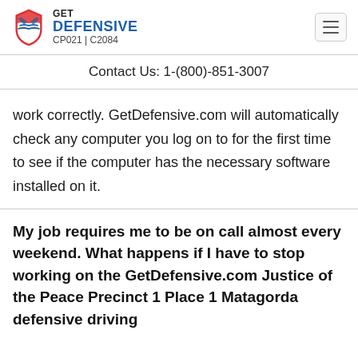[Figure (logo): Get Defensive logo with shield icon and text GET DEFENSIVE CP021 | C2084]
Contact Us: 1-(800)-851-3007
work correctly. GetDefensive.com will automatically check any computer you log on to for the first time to see if the computer has the necessary software installed on it.
My job requires me to be on call almost every weekend. What happens if I have to stop working on the GetDefensive.com Justice of the Peace Precinct 1 Place 1 Matagorda defensive driving